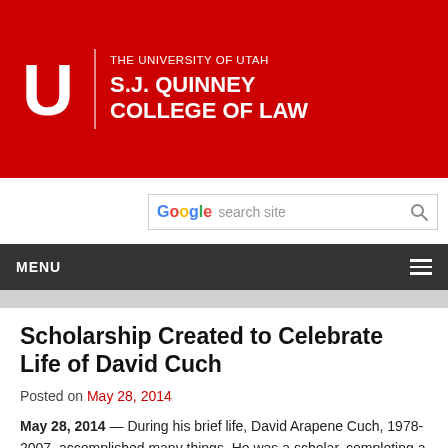[Figure (logo): University of Utah S.J. Quinney College of Law logo — red background with white block U logo and text THE UNIVERSITY OF UTAH / S.J. QUINNEY / COLLEGE OF LAW]
[Figure (screenshot): Google Custom Search bar with 'search site' placeholder and search icon]
MENU
Scholarship Created to Celebrate Life of David Cuch
Posted on May 28, 2014
May 28, 2014 — During his brief life, David Arapene Cuch, 1978-2007, accomplished many things. He was a scholar, completing a bachelor's degree in economics at Westminster College and a Master of Public Administration at the University of Utah. At the time of his unexpected death, Cuch, who was believed to be the first Ute Indian to attend law school, was in his third year at the University of Utah S.J. Quinney